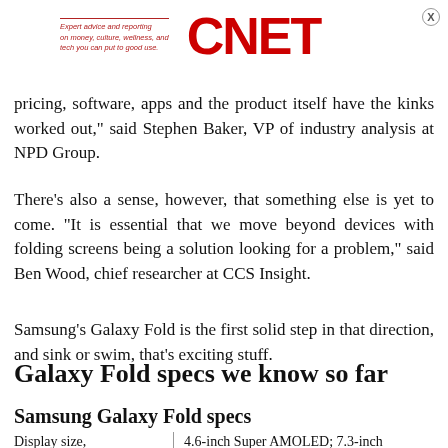Expert advice and reporting on money, culture, wellness, and tech you can put to good use. CNET
pricing, software, apps and the product itself have the kinks worked out," said Stephen Baker, VP of industry analysis at NPD Group.
There's also a sense, however, that something else is yet to come. "It is essential that we move beyond devices with folding screens being a solution looking for a problem," said Ben Wood, chief researcher at CCS Insight.
Samsung's Galaxy Fold is the first solid step in that direction, and sink or swim, that's exciting stuff.
Galaxy Fold specs we know so far
Samsung Galaxy Fold specs
| Display size, resolution |  |
| --- | --- |
| Display size, resolution | 4.6-inch Super AMOLED; 7.3-inch QXGA+ Dynamic AMOLED |